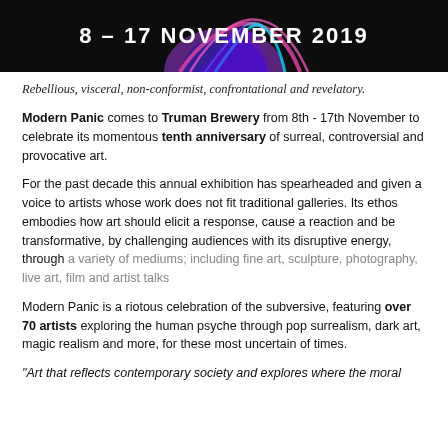[Figure (illustration): Dark banner with colorful psychedelic art and white bold text reading '8 - 17 NOVEMBER 2019']
Rebellious, visceral, non-conformist, confrontational and revelatory.
Modern Panic comes to Truman Brewery from 8th - 17th November to celebrate its momentous tenth anniversary of surreal, controversial and provocative art.
For the past decade this annual exhibition has spearheaded and given a voice to artists whose work does not fit traditional galleries. Its ethos embodies how art should elicit a response, cause a reaction and be transformative, by challenging audiences with its disruptive energy, through a variety of mediums; including fine art, sculpture, photography, live art, film and artist talks
Modern Panic is a riotous celebration of the subversive, featuring over 70 artists exploring the human psyche through pop surrealism, dark art, magic realism and more, for these most uncertain of times.
"Art that reflects contemporary society and explores where the moral